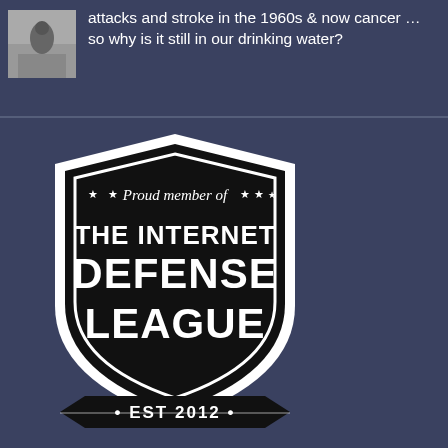attacks and stroke in the 1960s & now cancer … so why is it still in our drinking water?
[Figure (logo): The Internet Defense League badge/logo — black shield shape with white border, italic text 'Proud member of' with stars, bold text 'THE INTERNET DEFENSE LEAGUE', and 'EST 2012' at bottom on a ribbon banner.]